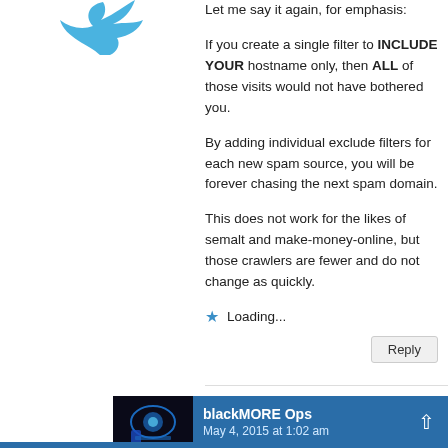[Figure (illustration): Partial blue bird/Twitter-like logo icon visible at top left]
Let me say it again, for emphasis:
If you create a single filter to INCLUDE YOUR hostname only, then ALL of those visits would not have bothered you.
By adding individual exclude filters for each new spam source, you will be forever chasing the next spam domain.
This does not work for the likes of semalt and make-money-online, but those crawlers are fewer and do not change as quickly.
★ Loading...
Reply
blackMORE Ops
May 4, 2015 at 1:02 am